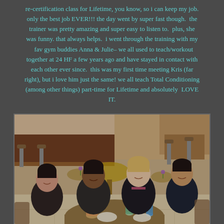re-certification class for Lifetime, you know, so i can keep my job. only the best job EVER!!! the day went by super fast though. the trainer was pretty amazing and super easy to listen to. plus, she was funny. that always helps. i went through the training with my fav gym buddies Anna & Julie– we all used to teach/workout together at 24 HF a few years ago and have stayed in contact with each other ever since. this was my first time meeting Kris (far right), but i love him just the same! we all teach Total Conditioning (among other things) part-time for Lifetime and absolutely LOVE IT.
[Figure (photo): Four people sitting at a table in what appears to be a gym cafe or restaurant, smiling at the camera. From left to right: a dark-haired woman in a dark jacket, a Black woman in a dark hoodie, a blonde woman in a black top with pink detail, and a young Asian man in a dark polo shirt. The background shows a cafe/restaurant interior with bar stools, tables, and shelving.]